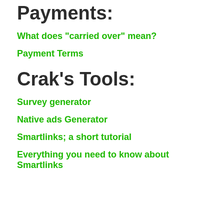Payments:
What does "carried over" mean?
Payment Terms
Crak's Tools:
Survey generator
Native ads Generator
Smartlinks; a short tutorial
Everything you need to know about Smartlinks